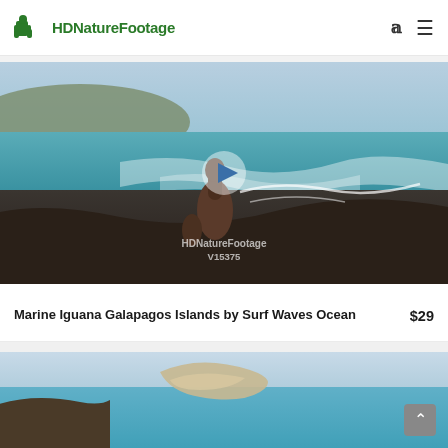HDNatureFootage
[Figure (screenshot): Video thumbnail showing a marine iguana on dark volcanic rock by the ocean surf waves, with a play button overlay and watermark reading 'HDNatureFootage V15375']
Marine Iguana Galapagos Islands by Surf Waves Ocean   $29
[Figure (screenshot): Partial video thumbnail showing a second nature/ocean scene, partially visible at bottom of page]